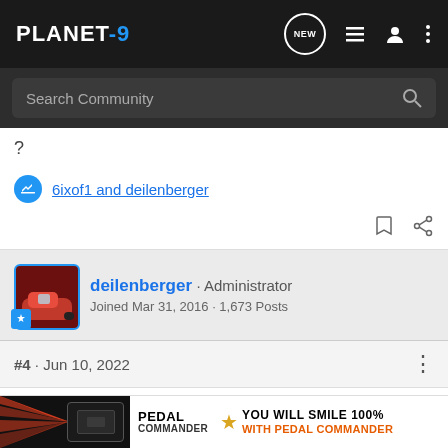PLANET-9
Search Community
?
6ixof1 and deilenberger
deilenberger · Administrator
Joined Mar 31, 2016 · 1,673 Posts
#4 · Jun 10, 2022
Porsche08 said: ↑
I wonder if making a sticky thread that member's can add by giving good feedback
By sta... xyz Po...